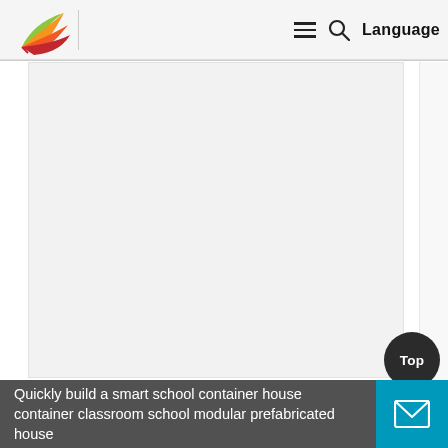[Figure (logo): Colorful bird/flame logo with red, orange, yellow, and green swooping shapes]
≡ 🔍 Language
[Figure (photo): Large blank/white image area representing a container house or school building photo (image not loaded)]
[Figure (other): Top button - dark circular button with text 'Top']
Quickly build a smart school container house container classroom school modular prefabricated house